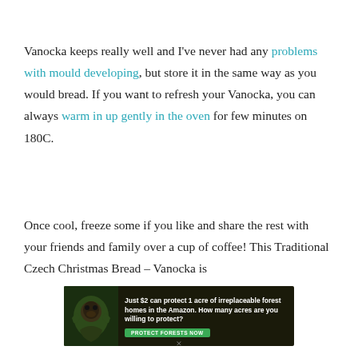Vanocka keeps really well and I've never had any problems with mould developing, but store it in the same way as you would bread. If you want to refresh your Vanocka, you can always warm in up gently in the oven for few minutes on 180C.
Once cool, freeze some if you like and share the rest with your friends and family over a cup of coffee! This Traditional Czech Christmas Bread – Vanocka is
[Figure (other): Advertisement banner with dark forest background showing a gorilla, text: 'Just $2 can protect 1 acre of irreplaceable forest homes in the Amazon. How many acres are you willing to protect?' with a green 'PROTECT FORESTS NOW' button.]
×